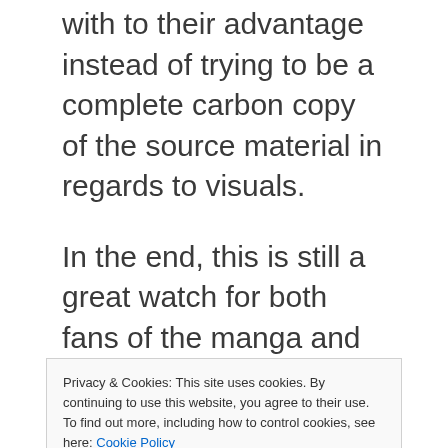with to their advantage instead of trying to be a complete carbon copy of the source material in regards to visuals.
In the end, this is still a great watch for both fans of the manga and people who haven't read it. However, fans of the manga won't find any reason to rewatch it and those who haven't read the manga should read the manga version before or after watching this for more detailed and
Privacy & Cookies: This site uses cookies. By continuing to use this website, you agree to their use.
To find out more, including how to control cookies, see here: Cookie Policy
Space Fantasy was directed by Fumihiko